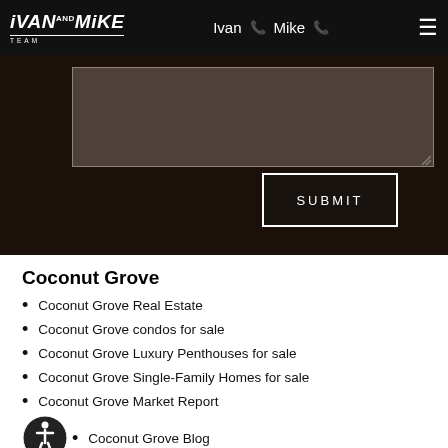Ivan and Mike Team — navigation bar with Ivan phone, Mike phone, hamburger menu
[Figure (screenshot): Dark hero section with a text area input box and a SUBMIT button]
Coconut Grove
Coconut Grove Real Estate
Coconut Grove condos for sale
Coconut Grove Luxury Penthouses for sale
Coconut Grove Single-Family Homes for sale
Coconut Grove Market Report
Coconut Grove Blog